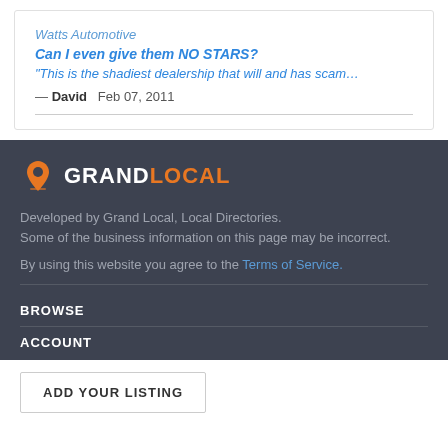Watts Automotive
Can I even give them NO STARS?
“This is the shadiest dealership that will and has scam…
— David   Feb 07, 2011
[Figure (logo): Grand Local logo with map pin icon, GRAND in white and LOCAL in orange]
Developed by Grand Local, Local Directories.
Some of the business information on this page may be incorrect.
By using this website you agree to the Terms of Service.
BROWSE
ACCOUNT
ADD YOUR LISTING